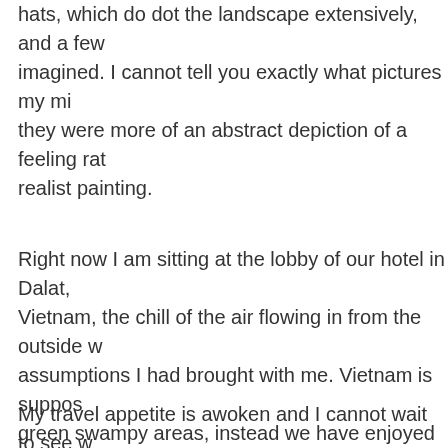hats, which do dot the landscape extensively, and a few imagined. I cannot tell you exactly what pictures my mi they were more of an abstract depiction of a feeling rat realist painting.
Right now I am sitting at the lobby of our hotel in Dalat, Vietnam, the chill of the air flowing in from the outside w assumptions I had brought with me. Vietnam is suppos green swampy areas, instead we have enjoyed a few d views and playing in the waves of the South China Sea just a 4 hour drive through a road covered in pot holes thing as it meant that we traveled slow enough to enjoy found ourselves in a cutout of the French Alps stuck 15 we were surprised will be an understatement. If there a rolling hills covered in charming French buildings and c can enjoy some cool fresh air, we were not one of thos
My travel appetite is awoken and I cannot wait to see w at us.